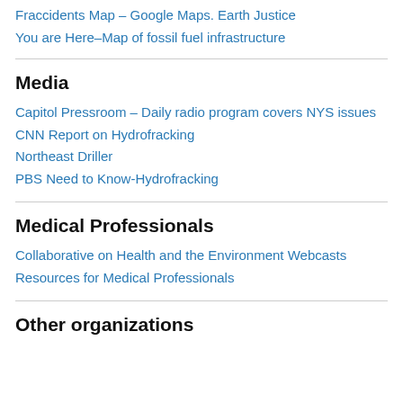Fraccidents Map – Google Maps. Earth Justice
You are Here–Map of fossil fuel infrastructure
Media
Capitol Pressroom – Daily radio program covers NYS issues
CNN Report on Hydrofracking
Northeast Driller
PBS Need to Know-Hydrofracking
Medical Professionals
Collaborative on Health and the Environment Webcasts
Resources for Medical Professionals
Other organizations